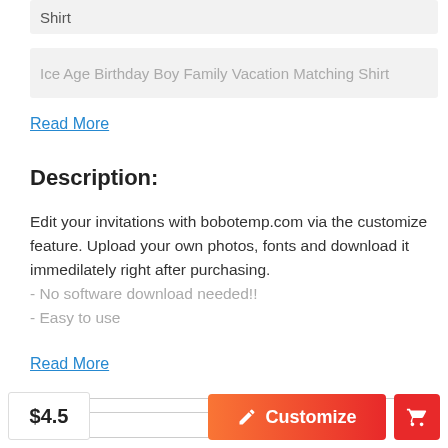Shirt
Ice Age Birthday Boy Family Vacation Matching Shirt
Read More
Description:
Edit your invitations with bobotemp.com via the customize feature. Upload your own photos, fonts and download it immedilately right after purchasing.
- No software download needed!!
- Easy to use
Read More
$4.5
Customize